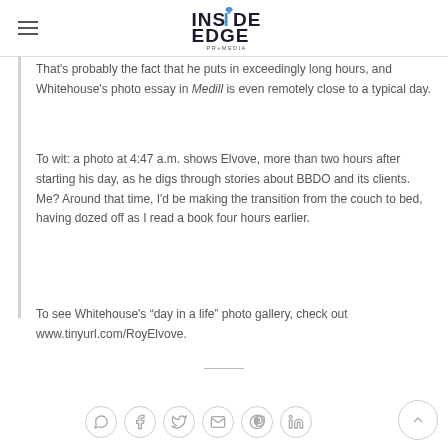INSIDE EDGE PR+MEDIA
That's probably the fact that he puts in exceedingly long hours, and Whitehouse's photo essay in Medill is even remotely close to a typical day.
To wit: a photo at 4:47 a.m. shows Elvove, more than two hours after starting his day, as he digs through stories about BBDO and its clients. Me? Around that time, I'd be making the transition from the couch to bed, having dozed off as I read a book four hours earlier.
To see Whitehouse's “day in a life” photo gallery, check out www.tinyurl.com/RoyElvove.
[Figure (other): Social sharing icons row: WhatsApp, Facebook, Twitter, Email, Pinterest, LinkedIn]